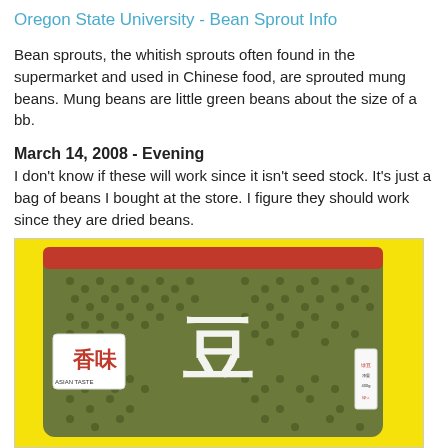Oregon State University - Bean Sprout Info
Bean sprouts, the whitish sprouts often found in the supermarket and used in Chinese food, are sprouted mung beans. Mung beans are little green beans about the size of a bb.
March 14, 2008 - Evening
I don't know if these will work since it isn't seed stock. It's just a bag of beans I bought at the store. I figure they should work since they are dried beans.
[Figure (photo): A bag of dried mung beans with Chinese characters on the packaging and a small logo reading 'Asian Taste', shown against a yellow background.]